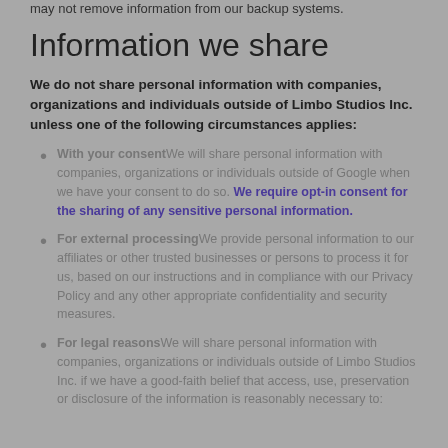may not remove information from our backup systems.
Information we share
We do not share personal information with companies, organizations and individuals outside of Limbo Studios Inc. unless one of the following circumstances applies:
With your consentWe will share personal information with companies, organizations or individuals outside of Google when we have your consent to do so. We require opt-in consent for the sharing of any sensitive personal information.
For external processingWe provide personal information to our affiliates or other trusted businesses or persons to process it for us, based on our instructions and in compliance with our Privacy Policy and any other appropriate confidentiality and security measures.
For legal reasonsWe will share personal information with companies, organizations or individuals outside of Limbo Studios Inc. if we have a good-faith belief that access, use, preservation or disclosure of the information is reasonably necessary to: